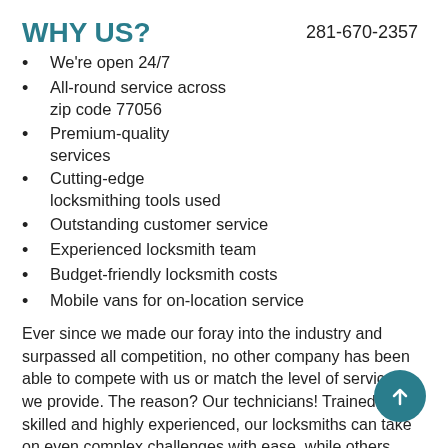WHY US?
281-670-2357
We're open 24/7
All-round service across zip code 77056
Premium-quality services
Cutting-edge locksmithing tools used
Outstanding customer service
Experienced locksmith team
Budget-friendly locksmith costs
Mobile vans for on-location service
Ever since we made our foray into the industry and surpassed all competition, no other company has been able to compete with us or match the level of services we provide. The reason? Our technicians! Trained, skilled and highly experienced, our locksmiths can take on even complex challenges with ease, while others would give up midway. That's the level of technical proficiency they